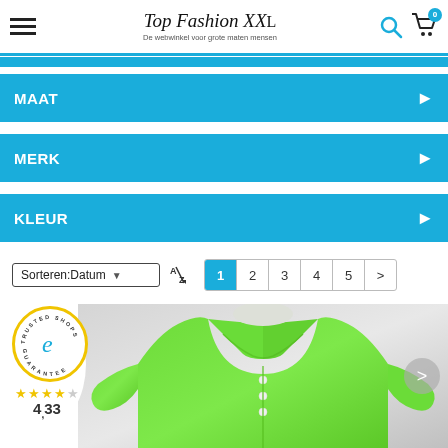Top Fashion XXL — De webwinkel voor grote maten mensen
MAAT
MERK
KLEUR
Sorteren:Datum  1 2 3 4 5 >
[Figure (logo): Trusted Shops guarantee badge with 4.33 star rating]
[Figure (photo): Green polo shirt on mannequin, front view showing collar and buttons]